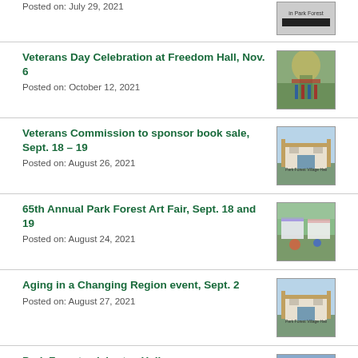Posted on: July 29, 2021
[Figure (photo): Thumbnail image with 'in Park Forest' text and black bar]
Veterans Day Celebration at Freedom Hall, Nov. 6
Posted on: October 12, 2021
[Figure (photo): Photo of people gathered under an arch with American flags]
Veterans Commission to sponsor book sale, Sept. 18 – 19
Posted on: August 26, 2021
[Figure (photo): Photo of Park Forest Village Hall building]
65th Annual Park Forest Art Fair, Sept. 18 and 19
Posted on: August 24, 2021
[Figure (photo): Photo of outdoor art fair tents with people]
Aging in a Changing Region event, Sept. 2
Posted on: August 27, 2021
[Figure (photo): Photo of Park Forest Village Hall building]
Park Forest celebrates Halloween